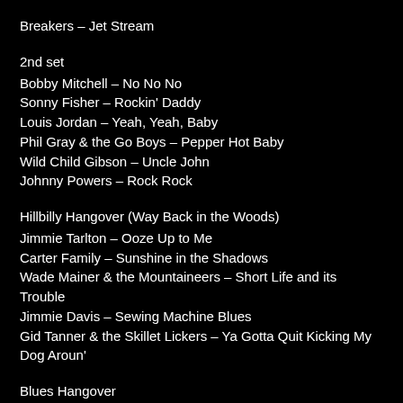Breakers – Jet Stream
2nd set
Bobby Mitchell – No No No
Sonny Fisher – Rockin' Daddy
Louis Jordan – Yeah, Yeah, Baby
Phil Gray & the Go Boys – Pepper Hot Baby
Wild Child Gibson – Uncle John
Johnny Powers – Rock Rock
Hillbilly Hangover (Way Back in the Woods)
Jimmie Tarlton – Ooze Up to Me
Carter Family – Sunshine in the Shadows
Wade Mainer & the Mountaineers – Short Life and its Trouble
Jimmie Davis – Sewing Machine Blues
Gid Tanner & the Skillet Lickers – Ya Gotta Quit Kicking My Dog Aroun'
Blues Hangover